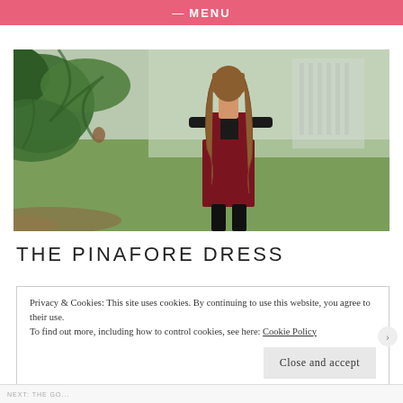≡ MENU
[Figure (photo): A young woman with long brown hair wearing a dark red pinafore dress over a black long-sleeve top, standing outdoors in a park with pine tree branches in the foreground and a large building visible in a misty green background.]
THE PINAFORE DRESS
Privacy & Cookies: This site uses cookies. By continuing to use this website, you agree to their use.
To find out more, including how to control cookies, see here: Cookie Policy
Close and accept